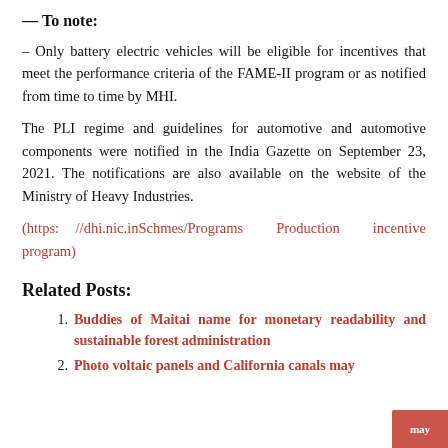— To note:
– Only battery electric vehicles will be eligible for incentives that meet the performance criteria of the FAME-II program or as notified from time to time by MHI.
The PLI regime and guidelines for automotive and automotive components were notified in the India Gazette on September 23, 2021. The notifications are also available on the website of the Ministry of Heavy Industries.
(https: //dhi.nic.inSchmes/Programs Production incentive program)
Related Posts:
Buddies of Maitai name for monetary readability and sustainable forest administration
Photo voltaic panels and California canals may